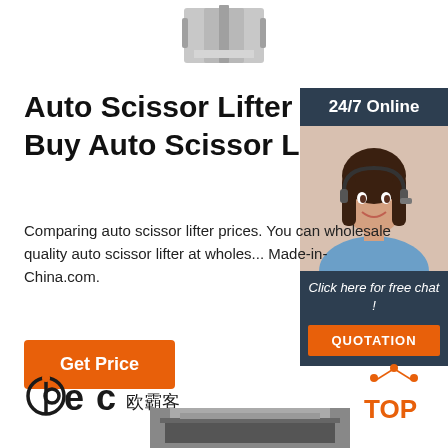[Figure (photo): Top portion of a silver/metallic auto scissor lifter product, partially cropped at top of page]
Auto Scissor Lifter Price - Buy Auto Scissor Lifter ...
[Figure (photo): 24/7 Online chat banner with photo of woman wearing headset, dark blue background, with 'Click here for free chat!' text and orange QUOTATION button]
Comparing auto scissor lifter prices. You can wholesale quality auto scissor lifter at wholesale prices on Made-in-China.com.
[Figure (other): Orange 'Get Price' button]
[Figure (logo): bec 欧霸客 logo in black and orange]
[Figure (other): Orange TOP button with dotted arc above text]
[Figure (photo): Bottom portion of a dark-colored auto scissor lifter product, partially visible at bottom of page]